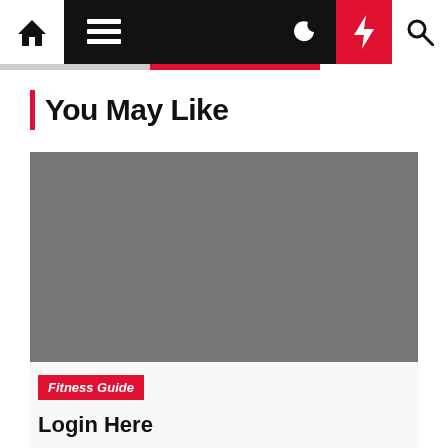Navigation bar with home, menu, moon, bolt, and search icons
You May Like
[Figure (photo): Gray placeholder image rectangle]
Fitness Guide
Login Here